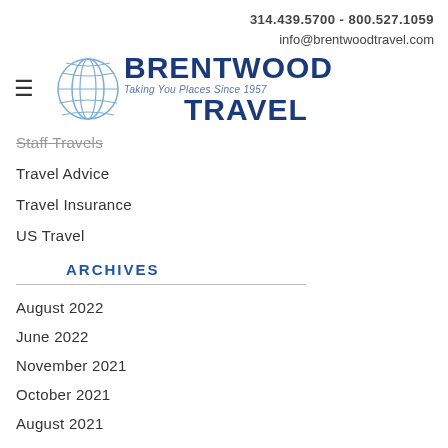314.439.5700 - 800.527.1059
info@brentwoodtravel.com
[Figure (logo): Brentwood Travel logo with globe graphic and tagline 'Taking You Places Since 1957']
Staff Travels
Travel Advice
Travel Insurance
US Travel
ARCHIVES
August 2022
June 2022
November 2021
October 2021
August 2021